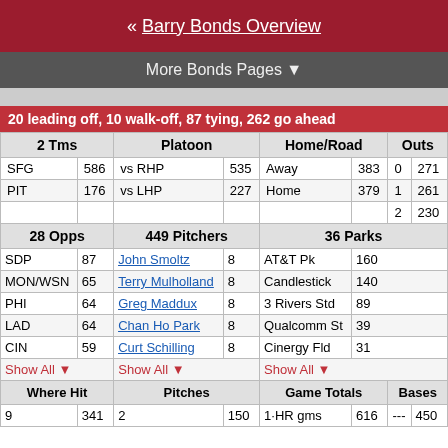« Barry Bonds Overview
More Bonds Pages ▼
20 leading off, 10 walk-off, 87 tying, 262 go ahead
| 2 Tms |  | Platoon |  | Home/Road |  | Outs |  |
| --- | --- | --- | --- | --- | --- | --- | --- |
| SFG | 586 | vs RHP | 535 | Away | 383 | 0 | 271 |
| PIT | 176 | vs LHP | 227 | Home | 379 | 1 | 261 |
|  |  |  |  |  |  | 2 | 230 |
| 28 Opps |  | 449 Pitchers |  | 36 Parks |  |  |  |
| SDP | 87 | John Smoltz | 8 | AT&T Pk | 160 |  |  |
| MON/WSN | 65 | Terry Mulholland | 8 | Candlestick | 140 |  |  |
| PHI | 64 | Greg Maddux | 8 | 3 Rivers Std | 89 |  |  |
| LAD | 64 | Chan Ho Park | 8 | Qualcomm St | 39 |  |  |
| CIN | 59 | Curt Schilling | 8 | Cinergy Fld | 31 |  |  |
| Show All ▼ |  | Show All ▼ |  | Show All ▼ |  |  |  |
| Where Hit |  | Pitches |  | Game Totals |  | Bases |  |
| 9 | 341 | 2 | 150 | 1-HR gms | 616 | --- | 450 |